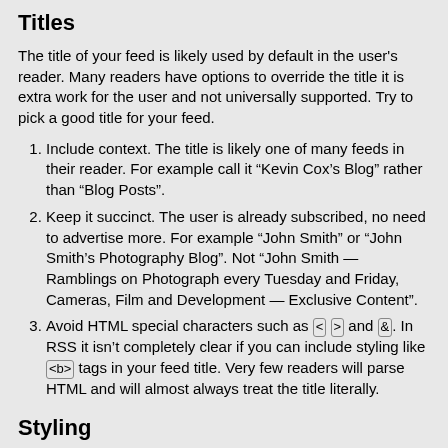Titles
The title of your feed is likely used by default in the user's reader. Many readers have options to override the title it is extra work for the user and not universally supported. Try to pick a good title for your feed.
Include context. The title is likely one of many feeds in their reader. For example call it “Kevin Cox’s Blog” rather than “Blog Posts”.
Keep it succinct. The user is already subscribed, no need to advertise more. For example “John Smith” or “John Smith’s Photography Blog”. Not “John Smith — Ramblings on Photograph every Tuesday and Friday, Cameras, Film and Development — Exclusive Content”.
Avoid HTML special characters such as < > and &. In RSS it isn’t completely clear if you can include styling like <b> tags in your feed title. Very few readers will parse HTML and will almost always treat the title literally.
Styling